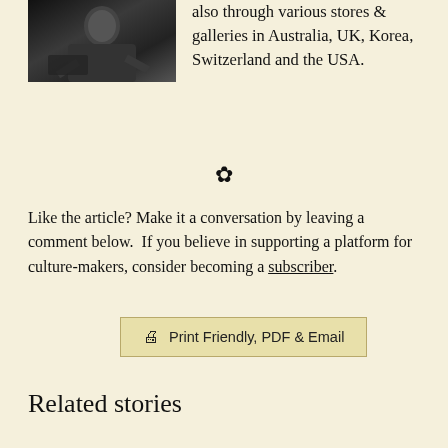[Figure (photo): Black and white photograph of a person working, cropped at top of page]
also through various stores & galleries in Australia, UK, Korea, Switzerland and the USA.
❀
Like the article? Make it a conversation by leaving a comment below.  If you believe in supporting a platform for culture-makers, consider becoming a subscriber.
[Figure (other): Print Friendly, PDF & Email button]
Related stories